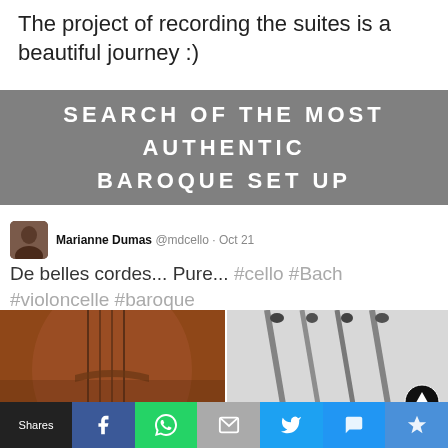The project of recording the suites is a beautiful journey :)
SEARCH OF THE MOST AUTHENTIC BAROQUE SET UP
Marianne Dumas @mdcello · Oct 21
De belles cordes... Pure... #cello #Bach #violoncelle #baroque
[Figure (photo): Two photos: left shows close-up of cello strings and bridge in warm brown tones; right shows black and white image of bow tips/pegs]
Shares  [Facebook] [WhatsApp] [Mail] [Twitter] [Message] [Crown]